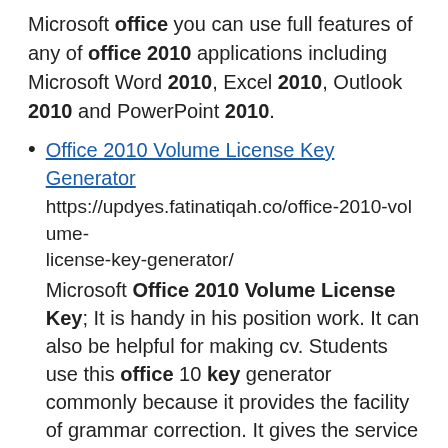Microsoft office you can use full features of any of office 2010 applications including Microsoft Word 2010, Excel 2010, Outlook 2010 and PowerPoint 2010.
Office 2010 Volume License Key Generator
https://updyes.fatinatiqah.co/office-2010-volume-license-key-generator/
Microsoft Office 2010 Volume License Key; It is handy in his position work. It can also be helpful for making cv. Students use this office 10 key generator commonly because it provides the facility of grammar correction. It gives the service of bold your written words by changing their style and color.
Ms Office 2010 License Key – thefreecoursesite.com
https://thefreecoursesite.com/ms-office-2010-license-key/
Microsoft Office 2010 X64 Serial Key Ral...